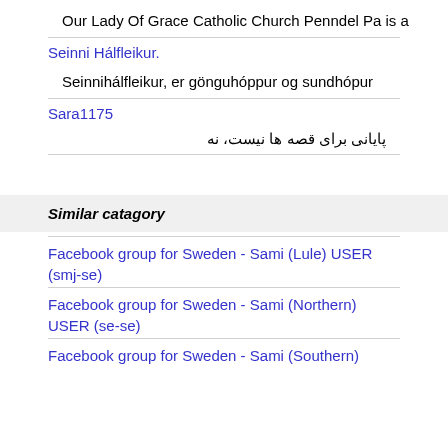Our Lady Of Grace Catholic Church Penndel Pa is a
Seinni Hálfleikur.
Seinnihálfleikur, er gönguhóppur og sundhópur
Sara1175
پایانی برای قصه ها نیست، نه
Similar catagory
Facebook group for Sweden - Sami (Lule) USER (smj-se)
Facebook group for Sweden - Sami (Northern) USER (se-se)
Facebook group for Sweden - Sami (Southern)